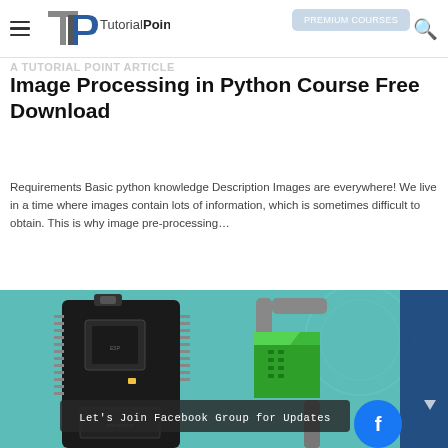TutorialPoint
Image Processing in Python Course Free Download
Requirements Basic python knowledge Description Images are everywhere! We live in a time where images contain lots of information, which is sometimes difficult to obtain. This is why image pre-processing…
DOWNLOAD NOW
[Figure (photo): Teal/turquoise background with a circuit board (microcontroller) on the left, a green compressed file icon held by a metal clamp in the center, a Facebook group banner overlay at the bottom, and a Facebook circle icon on the bottom right with a dark blue panel on the far right edge.]